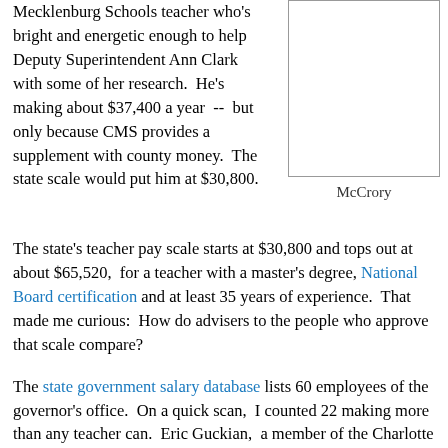Mecklenburg Schools teacher who's bright and energetic enough to help Deputy Superintendent Ann Clark with some of her research.  He's making about $37,400 a year  --  but only because CMS provides a supplement with county money.  The state scale would put him at $30,800.
[Figure (photo): Photo of McCrory]
McCrory
The state's teacher pay scale starts at $30,800 and tops out at about $65,520,  for a teacher with a master's degree, National Board certification and at least 35 years of experience.  That made me curious:  How do advisers to the people who approve that scale compare?
The state government salary database lists 60 employees of the governor's office.  On a quick scan,  I counted 22 making more than any teacher can.  Eric Guckian,  a member of the Charlotte education scene who was recently hired as McCrory's education adviser,  came in at $120,000.  Three of